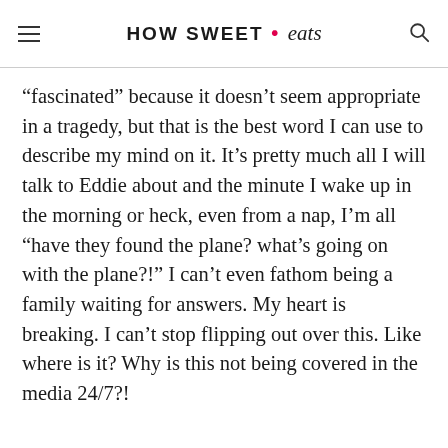HOW SWEET • eats
“fascinated” because it doesn’t seem appropriate in a tragedy, but that is the best word I can use to describe my mind on it. It’s pretty much all I will talk to Eddie about and the minute I wake up in the morning or heck, even from a nap, I’m all “have they found the plane? what’s going on with the plane?!” I can’t even fathom being a family waiting for answers. My heart is breaking. I can’t stop flipping out over this. Like where is it? Why is this not being covered in the media 24/7?!